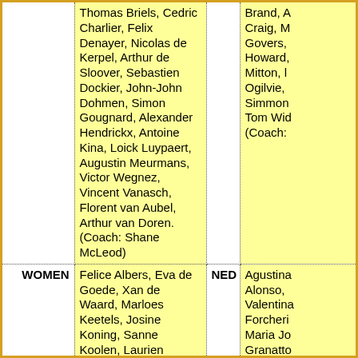| Category | Players | Code | Players (right) |
| --- | --- | --- | --- |
|  | Thomas Briels, Cedric Charlier, Felix Denayer, Nicolas de Kerpel, Arthur de Sloover, Sebastien Dockier, John-John Dohmen, Simon Gougnard, Alexander Hendrickx, Antoine Kina, Loick Luypaert, Augustin Meurmans, Victor Wegnez, Vincent Vanasch, Florent van Aubel, Arthur van Doren. (Coach: Shane McLeod) |  | Brand, A... Craig, M... Govers,... Howard,... Mitton, l... Ogilvie,... Simmon... Tom Wid... (Coach:... |
| WOMEN | Felice Albers, Eva de Goede, Xan de Waard, Marloes Keetels, Josine Koning, Sanne Koolen, Laurien Leurink, Frederique Matla, Laura Nunnink, Malou Pheninckx, Pien Sanders, Lauren Stam, Margot van Geffen, Caia van Maasakker, Maria Verschoor, Lidewij Welten. (Coach: Alyson Annan) | NED | Agustina... Alonso,... Valentina... Farcheri... Maria Jo... Granatto... Sofia Ma... Valentina... Sanchez... Retegui,... Succi, Se... Trinchin... Retegui) |